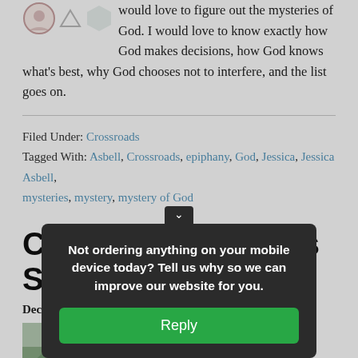would love to figure out the mysteries of God. I would love to know exactly how God makes decisions, how God knows what's best, why God chooses not to interfere, and the list goes on.
Filed Under: Crossroads
Tagged With: Asbell, Crossroads, epiphany, God, Jessica, Jessica Asbell, mysteries, mystery, mystery of God
Crossroads: Mary's Song
Decemb...
...ild and ...h my ...good
[Figure (photo): Thumbnail photo showing evergreen branches with snow]
Not ordering anything on your mobile device today? Tell us why so we can improve our website for you.